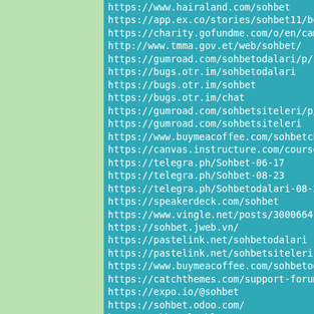https://www.hairaland.com/sohbet
https://app.ex.co/stories/sohbet11/bedava-so
https://charity.gofundme.com/o/en/campaign/so
http://www.tmma.gov.et/web/sohbet/
https://gumroad.com/sohbetodalari/p/sohbet-29
https://bugs.otr.im/sohbetodalari
https://bugs.otr.im/sohbet
https://bugs.otr.im/chat
https://gumroad.com/sohbetsiteleri/p/sohbet-s
https://gumroad.com/sohbetsiteleri
https://www.buymeacoffee.com/sohbetchat
https://canvas.instructure.com/courses/211253
https://telegra.ph/Sohbet-06-17
https://telegra.ph/Sohbet-08-23
https://telegra.ph/Sohbetodalari-08-23
https://speakerdeck.com/sohbet
https://www.vingle.net/posts/3000664
https://sohbet.jweb.vn/
https://pastelink.net/sohbetodalari
https://pastelink.net/sohbetsiteleri
https://www.buymeacoffee.com/sohbetodalari
https://catchthemes.com/support-forum/users/s
https://expo.io/@sohbet
https://sohbet.odoo.com/
http://sohbet.loxblog.com/
http://sohbet.niloblog.com/
http://sohbetodalari.sweb.cz/